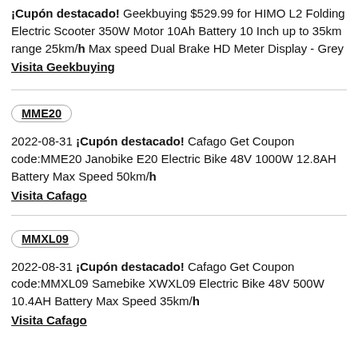¡Cupón destacado! Geekbuying $529.99 for HIMO L2 Folding Electric Scooter 350W Motor 10Ah Battery 10 Inch up to 35km range 25km/h Max speed Dual Brake HD Meter Display - Grey
Visita Geekbuying
MME20
2022-08-31 ¡Cupón destacado! Cafago Get Coupon code:MME20 Janobike E20 Electric Bike 48V 1000W 12.8AH Battery Max Speed 50km/h
Visita Cafago
MMXL09
2022-08-31 ¡Cupón destacado! Cafago Get Coupon code:MMXL09 Samebike XWXL09 Electric Bike 48V 500W 10.4AH Battery Max Speed 35km/h
Visita Cafago